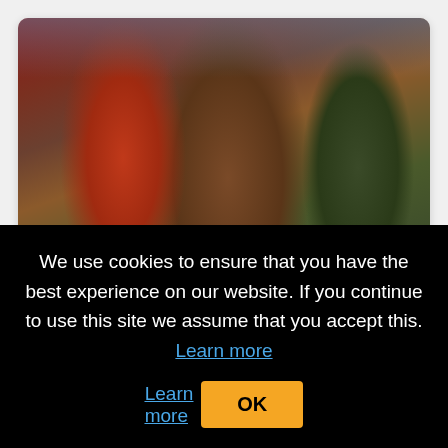[Figure (photo): Three people standing together, one in a red jacket on the left, one in a brown jacket in the center, one in a dark green jacket on the right. Appears to be a still from FX's Fargo TV show.]
FX's “Fargo” Adds Joe Keery, Lamorne Morris and Richa Moorjani to Cast of Fifth Installment
[Figure (photo): Partial image visible showing outdoor scene with a Sunset Junction sign in the upper right corner.]
We use cookies to ensure that you have the best experience on our website. If you continue to use this site we assume that you accept this. Learn more
OK